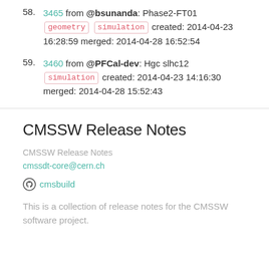58. 3465 from @bsunanda: Phase2-FT01 geometry simulation created: 2014-04-23 16:28:59 merged: 2014-04-28 16:52:54
59. 3460 from @PFCal-dev: Hgc slhc12 simulation created: 2014-04-23 14:16:30 merged: 2014-04-28 15:52:43
CMSSW Release Notes
CMSSW Release Notes
cmssdt-core@cern.ch
cmsbuild
This is a collection of release notes for the CMSSW software project.